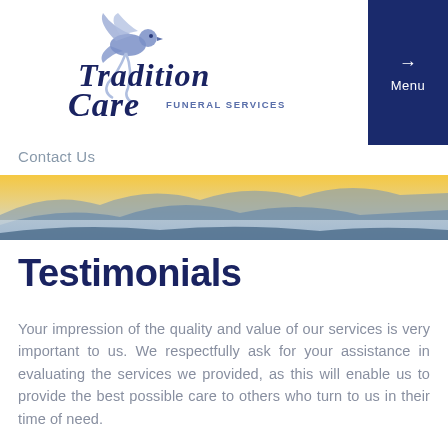[Figure (logo): Tradition Care Funeral Services logo with a dove and cursive/script lettering]
[Figure (other): Navigation menu button with right arrow and 'Menu' text on dark navy background]
Contact Us
[Figure (photo): Mountain landscape at sunset/sunrise with golden sky and misty valleys]
Testimonials
Your impression of the quality and value of our services is very important to us. We respectfully ask for your assistance in evaluating the services we provided, as this will enable us to provide the best possible care to others who turn to us in their time of need.